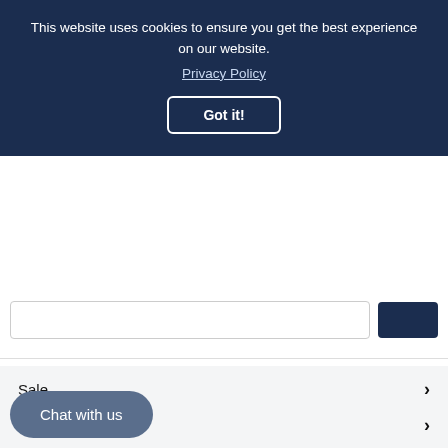This website uses cookies to ensure you get the best experience on our website. Privacy Policy
Got it!
Sale
Mens
Ladies
Chat with us